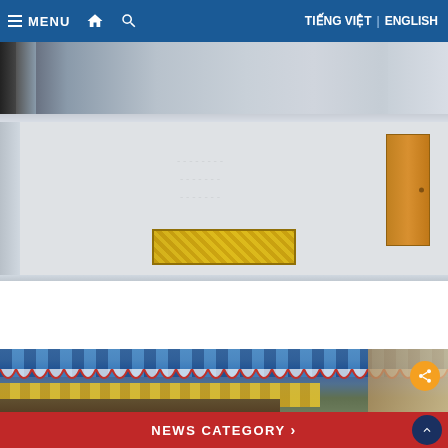MENU | Home | Search | TIẾNG VIỆT | ENGLISH
[Figure (photo): Top partial photo, appears to be outdoor scene with dark left edge, light gray/blue sky tones]
[Figure (photo): Indoor room photo showing white walls, a wooden door on the right, and a yellow/gold framed sign or poster near the bottom center]
[Figure (photo): Bottom photo showing colorful awnings and rooftops, market or festival decoration with blue and striped tent canopies, orange circle share button visible]
NEWS CATEGORY >